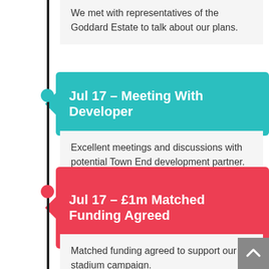We met with representatives of the Goddard Estate to talk about our plans.
Jul 17 – Meeting With Developer
Excellent meetings and discussions with potential Town End development partner.
Jul 17 – £1m Matched Funding Agreed
Matched funding agreed to support our stadium campaign.